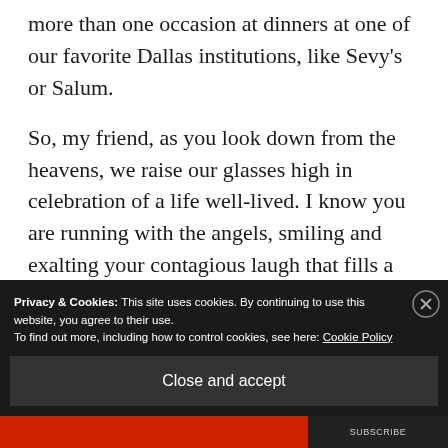more than one occasion at dinners at one of our favorite Dallas institutions, like Sevy's or Salum.
So, my friend, as you look down from the heavens, we raise our glasses high in celebration of a life well-lived. I know you are running with the angels, smiling and exalting your contagious laugh that fills a room. Our hearts hurt. But I know you are at peace, and knowing that, we
Privacy & Cookies: This site uses cookies. By continuing to use this website, you agree to their use. To find out more, including how to control cookies, see here: Cookie Policy
Close and accept